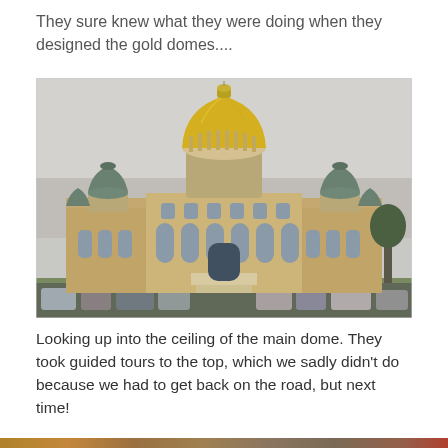They sure knew what they were doing when they designed the gold domes....
[Figure (photo): Photograph of a large ornate government building (Iowa State Capitol) with a prominent central gold dome and four smaller green domes at the corners. The building is built in Romanesque Revival style with tan stone, arched windows, and a grand staircase entrance. Cars are parked in front. The sky is overcast and hazy.]
Looking up into the ceiling of the main dome. They took guided tours to the top, which we sadly didn't do because we had to get back on the road, but next time!